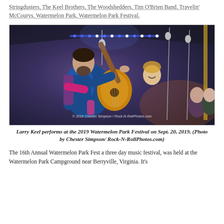Stringdusters, The Keel Brothers, The Woodshedders, Tim O'Brien Band, Travelin' McCourys, Watermelon Park, Watermelon Park Festival.
[Figure (photo): Larry Keel performs on stage with an acoustic guitar at the 2019 Watermelon Park Festival on Sept. 20, 2019. A woman smiles behind him. Blue and LED stage lights visible. Photo watermark: © 2019 Chester Simpson / Rock-N-RollPhotos.com]
Larry Keel performs at the 2019 Watermelon Park Festival on Sept. 20, 2019. (Photo by Chester Simpson/ Rock-N-RollPhotos.com)
The 16th Annual Watermelon Park Fest a three day music festival, was held at the Watermelon Park Campground near Berryville, Virginia. It's